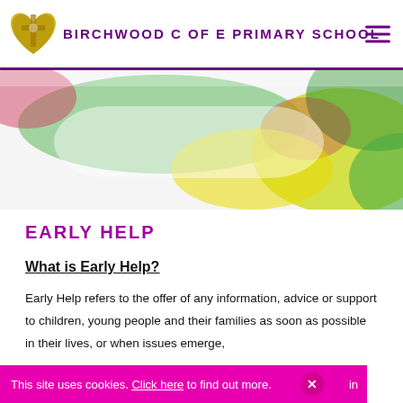BIRCHWOOD C OF E PRIMARY SCHOOL
[Figure (photo): Blurred colorful image showing green, yellow, and pink/red blobs of color — likely children's artwork or nature scene, used as a decorative hero banner for the school website.]
EARLY HELP
What is Early Help?
Early Help refers to the offer of any information, advice or support to children, young people and their families as soon as possible in their lives, or when issues emerge,
This site uses cookies. Click here to find out more.